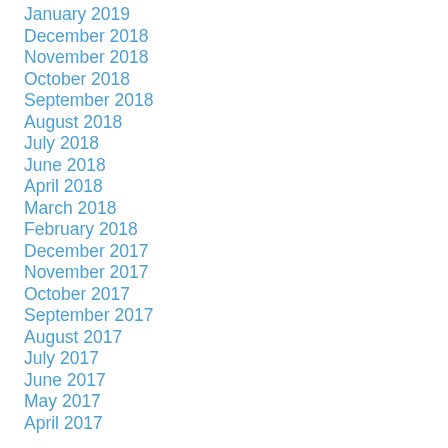January 2019
December 2018
November 2018
October 2018
September 2018
August 2018
July 2018
June 2018
April 2018
March 2018
February 2018
December 2017
November 2017
October 2017
September 2017
August 2017
July 2017
June 2017
May 2017
April 2017